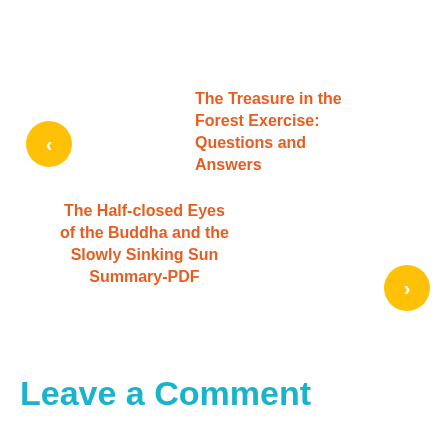The Treasure in the Forest Exercise: Questions and Answers
The Half-closed Eyes of the Buddha and the Slowly Sinking Sun Summary-PDF
Leave a Comment